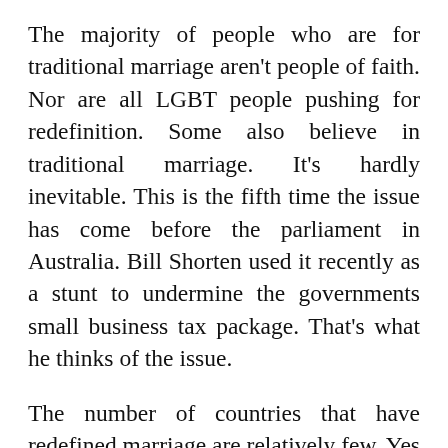The majority of people who are for traditional marriage aren't people of faith. Nor are all LGBT people pushing for redefinition. Some also believe in traditional marriage. It's hardly inevitable. This is the fifth time the issue has come before the parliament in Australia. Bill Shorten used it recently as a stunt to undermine the governments small business tax package. That's what he thinks of the issue.
The number of countries that have redefined marriage are relatively few. Yes Ireland is one of them but Irelands decision to redefine marriage has as much impact on Australia's decision on this issue as Irelands decision to become a republic in 1922 had on Australia's decision not to in 1999.
We have the benefit of sitting back and seeing how things have unfolded overseas in jurisdictions that have redefined marriage, to then consider in